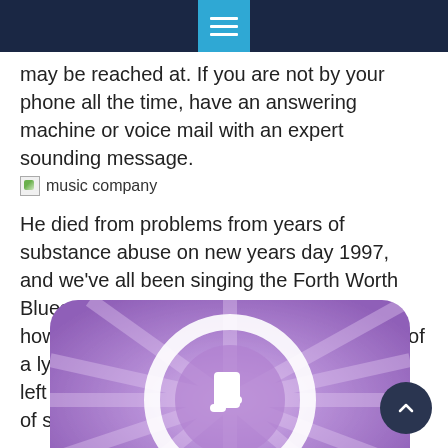Menu icon / navigation header
may be reached at. If you are not by your phone all the time, have an answering machine or voice mail with an expert sounding message.
[Figure (illustration): Broken image placeholder labeled 'music company']
He died from problems from years of substance abuse on new years day 1997, and we've all been singing the Forth Worth Blues every single day since that time – however not in mourning, in the celebration of a lyrical genius who lived and died, and who left the world an absolute treasure, a wealth of songs.
[Figure (illustration): Purple music app icon with rounded rectangle corners, featuring a circular ring and a musical note symbol in the center on a lavender/purple radial background]